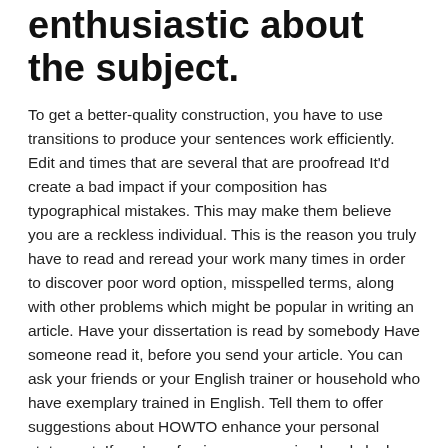enthusiastic about the subject.
To get a better-quality construction, you have to use transitions to produce your sentences work efficiently. Edit and times that are several that are proofread It'd create a bad impact if your composition has typographical mistakes. This may make them believe you are a reckless individual. This is the reason you truly have to read and reread your work many times in order to discover poor word option, misspelled terms, along with other problems which might be popular in writing an article. Have your dissertation is read by somebody Have someone read it, before you send your article. You can ask your friends or your English trainer or household who have exemplary trained in English. Tell them to offer suggestions about HOWTO enhance your personal statement. If you're a foreigner – organized and sleek dissertation could definitely be an advantage tp your request. That is why you have to work hard to make your essay as ideal as you are able to with regards to framework.
Place in the upper left-